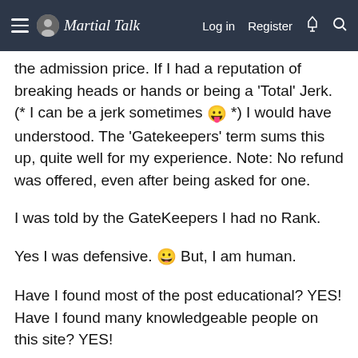Martial Talk — Log in | Register
the admission price. If I had a reputation of breaking heads or hands or being a 'Total' Jerk. (* I can be a jerk sometimes 😛 *) I would have understood. The 'Gatekeepers' term sums this up, quite well for my experience. Note: No refund was offered, even after being asked for one.
I was told by the GateKeepers I had no Rank.
Yes I was defensive. 😀 But, I am human.
Have I found most of the post educational? YES! Have I found many knowledgeable people on this site? YES!
Have I found many people with their opinions here? Yes, and this is good!
Therefore WhoopAss :asian: I respect your right